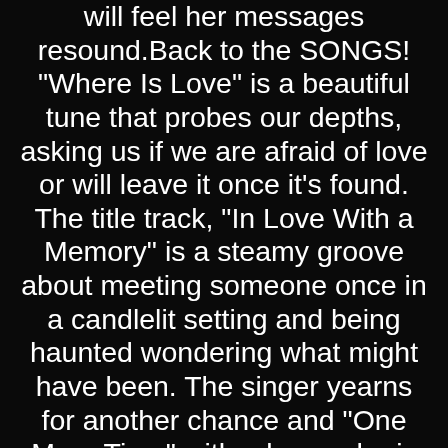will feel her messages resound.Back to the SONGS! "Where Is Love" is a beautiful tune that probes our depths, asking us if we are afraid of love or will leave it once it's found. The title track, "In Love With a Memory" is a steamy groove about meeting someone once in a candlelit setting and being haunted wondering what might have been. The singer yearns for another chance and "One More Time" with a lover who is clearly no longer in season, something so many of us have experienced.TINY GRIPE: The only song that seems out of place on this album is a duet called "Made It Through the Bad Times."